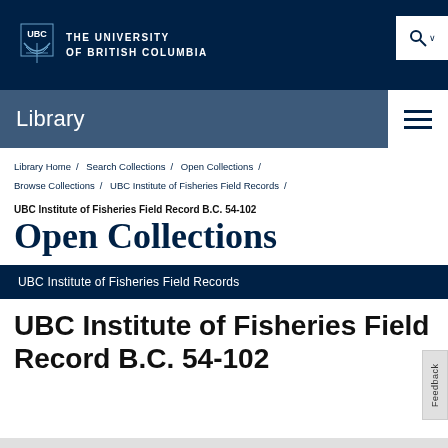THE UNIVERSITY OF BRITISH COLUMBIA
Library
Library Home / Search Collections / Open Collections / Browse Collections / UBC Institute of Fisheries Field Records /
UBC Institute of Fisheries Field Record B.C. 54-102
Open Collections
UBC Institute of Fisheries Field Records
UBC Institute of Fisheries Field Record B.C. 54-102